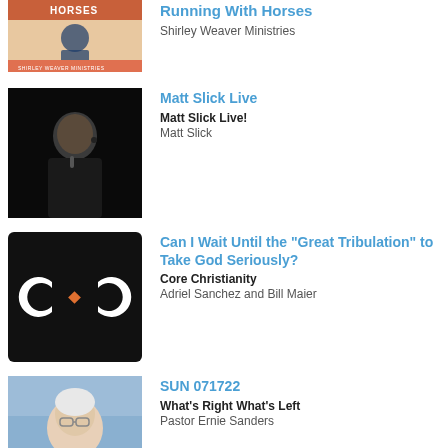[Figure (photo): Running With Horses podcast thumbnail - Shirley Weaver Ministries book cover style image with a woman sitting]
Running With Horses
Shirley Weaver Ministries
[Figure (photo): Matt Slick Live podcast thumbnail - black and white photo of Matt Slick speaking]
Matt Slick Live
Matt Slick Live!
Matt Slick
[Figure (logo): Core Christianity podcast thumbnail - black background with C·C logo in white and orange diamond]
Can I Wait Until the "Great Tribulation" to Take God Seriously?
Core Christianity
Adriel Sanchez and Bill Maier
[Figure (photo): SUN 071722 - What's Right What's Left podcast thumbnail - older man with glasses against sky background]
SUN 071722
What's Right What's Left
Pastor Ernie Sanders